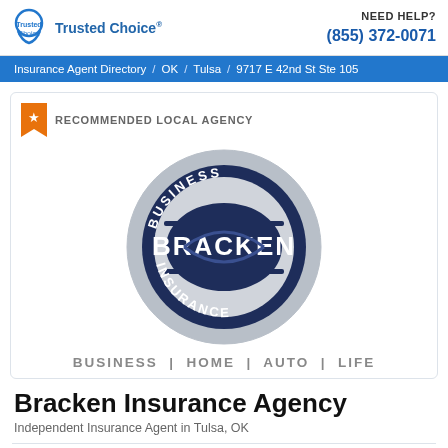Trusted Choice | NEED HELP? (855) 372-0071
Insurance Agent Directory / OK / Tulsa / 9717 E 42nd St Ste 105
[Figure (logo): Bracken Business Insurance circular logo with text BUSINESS INSURANCE around the ring and BRACKEN in the center, dark navy and grey colors. Below: BUSINESS | HOME | AUTO | LIFE]
Bracken Insurance Agency
Independent Insurance Agent in Tulsa, OK
★★★★★ (2)  Leave a review
Tulsa, OK • Founded in 1998